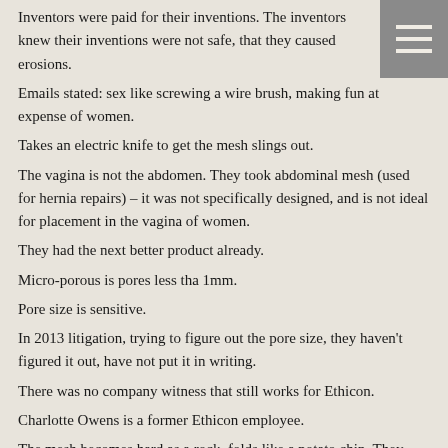Inventors were paid for their inventions. The inventors knew their inventions were not safe, that they caused erosions.
Emails stated: sex like screwing a wire brush, making fun at expense of women.
Takes an electric knife to get the mesh slings out.
The vagina is not the abdomen. They took abdominal mesh (used for hernia repairs) – it was not specifically designed, and is not ideal for placement in the vagina of women.
They had the next better product already.
Micro-porous is pores less tha 1mm.
Pore size is sensitive.
In 2013 litigation, trying to figure out the pore size, they haven't figured it out, have not put it in writing.
There was no company witness that still works for Ethicon.
Charlotte Owens is a former Ethicon employee.
The mesh becomes hard as a rock, folds like a potato chip. They knew this, knew the safety problems of Gynemesh.
The inventors were concerned with the shrinkage of the mesh, knew it caused pain and dyspareunia, knew erosion was very common.